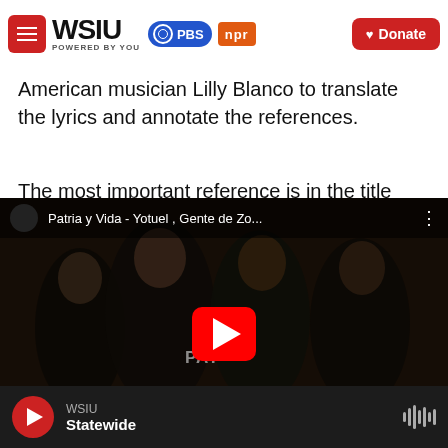WSIU POWERED BY YOU | PBS | npr | Donate
American musician Lilly Blanco to translate the lyrics and annotate the references.
The most important reference is in the title itself. The musicians are defiantly reclaiming a slogan made popular at the birth of the Cuban revolution, "Patria o Muerte" (Homeland or Death), 62 years ago.
[Figure (screenshot): YouTube video thumbnail showing 'Patria y Vida - Yotuel, Gente de Zo...' with four men in dark clothing and a red YouTube play button overlay]
WSIU Statewide